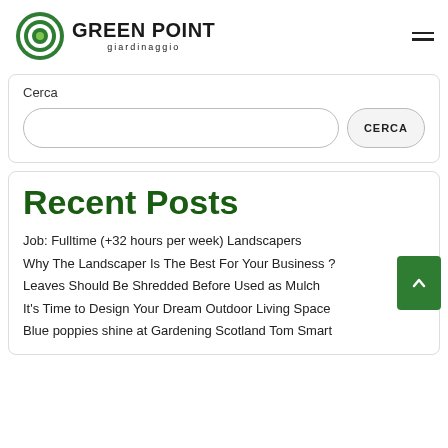GREEN POINT giardinaggio
Cerca
CERCA
Recent Posts
Job: Fulltime (+32 hours per week) Landscapers
Why The Landscaper Is The Best For Your Business ?
Leaves Should Be Shredded Before Used as Mulch
It's Time to Design Your Dream Outdoor Living Space
Blue poppies shine at Gardening Scotland Tom Smart